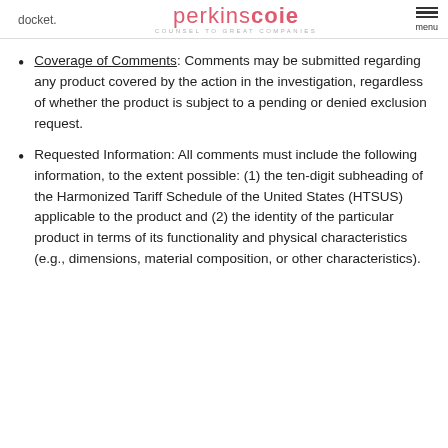docket. PERKINS COIE COUNSEL TO GREAT COMPANIES menu
Coverage of Comments: Comments may be submitted regarding any product covered by the action in the investigation, regardless of whether the product is subject to a pending or denied exclusion request.
Requested Information: All comments must include the following information, to the extent possible: (1) the ten-digit subheading of the Harmonized Tariff Schedule of the United States (HTSUS) applicable to the product and (2) the identity of the particular product in terms of its functionality and physical characteristics (e.g., dimensions, material composition, or other characteristics).